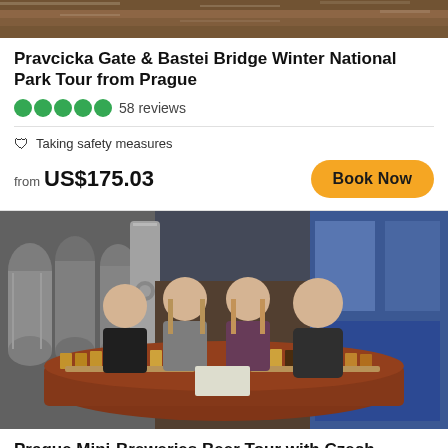[Figure (photo): Top portion of a winter national park tour photo, cropped at top of page]
Pravcicka Gate & Bastei Bridge Winter National Park Tour from Prague
58 reviews
Taking safety measures
from US$175.03
Book Now
[Figure (photo): Four people smiling at a round table in a brewery, with many small beer tasting glasses arranged in rows in front of them. Beer kegs and brewing equipment visible in background.]
Prague Mini-Breweries Beer Tour with Czech Appetizers